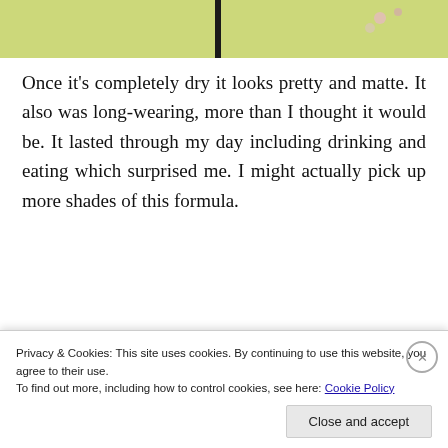[Figure (photo): Top portion of image showing yellow-green background with dark vertical element and floral dots visible at top edge]
Once it’s completely dry it looks pretty and matte. It also was long-wearing, more than I thought it would be. It lasted through my day including drinking and eating which surprised me. I might actually pick up more shades of this formula.
[Figure (screenshot): Advertisement showing 'Explore options' green button on left and food photography grid on right with WordPress logo at bottom left]
Privacy & Cookies: This site uses cookies. By continuing to use this website, you agree to their use.
To find out more, including how to control cookies, see here: Cookie Policy
Close and accept